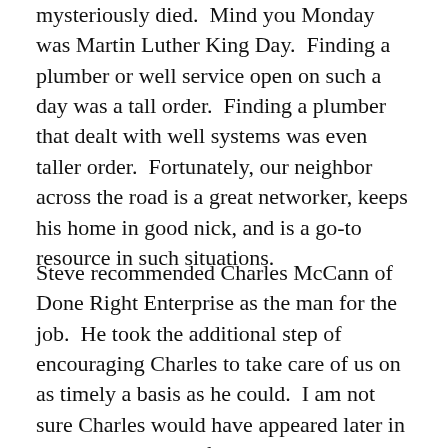mysteriously died.  Mind you Monday was Martin Luther King Day.  Finding a plumber or well service open on such a day was a tall order.  Finding a plumber that dealt with well systems was even taller order.  Fortunately, our neighbor across the road is a great networker, keeps his home in good nick, and is a go-to resource in such situations.
Steve recommended Charles McCann of Done Right Enterprise as the man for the job.  He took the additional step of encouraging Charles to take care of us on as timely a basis as he could.  I am not sure Charles would have appeared later in the day with his wife and partner, Marie, without the recommendation and endorsement from Steve.  Charles assessed